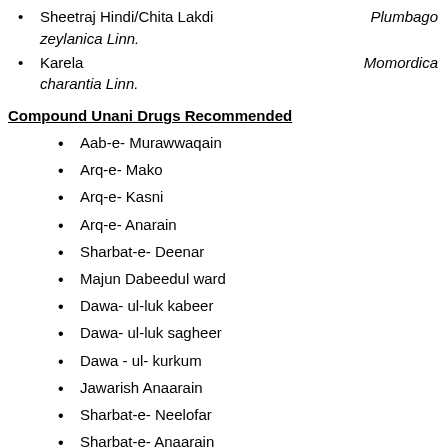Sheetraj Hindi/Chita Lakdi  Plumbago zeylanica Linn.
Karela  Momordica charantia Linn.
Compound Unani Drugs Recommended
Aab-e- Murawwaqain
Arq-e- Mako
Arq-e- Kasni
Arq-e- Anarain
Sharbat-e- Deenar
Majun Dabeedul ward
Dawa- ul-luk kabeer
Dawa- ul-luk sagheer
Dawa - ul- kurkum
Jawarish Anaarain
Sharbat-e- Neelofar
Sharbat-e- Anaarain
Qurs-e- Zarishk